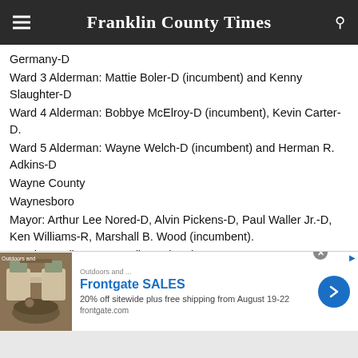Franklin County Times
Germany-D
Ward 3 Alderman: Mattie Boler-D (incumbent) and Kenny Slaughter-D
Ward 4 Alderman: Bobbye McElroy-D (incumbent), Kevin Carter-D.
Ward 5 Alderman: Wayne Welch-D (incumbent) and Herman R. Adkins-D
Wayne County
Waynesboro
Mayor: Arthur Lee Nored-D, Alvin Pickens-D, Paul Waller Jr.-D, Ken Williams-R, Marshall B. Wood (incumbent).
Ward 1: Melissa Bowen (incumbent), Tracy Brown-D.
Ward 2: Joe Grimley-D, Leslie Steve Walker-D.
Ward 3: Arbuties Taylor, Tammie Wilson (incumbent).
Ward 4: Arthur Wayne Longmire-D, Johnny Gray (incumbent).
[Figure (screenshot): Frontgate SALES advertisement: 20% off sitewide plus free shipping from August 19-22, frontgate.com]